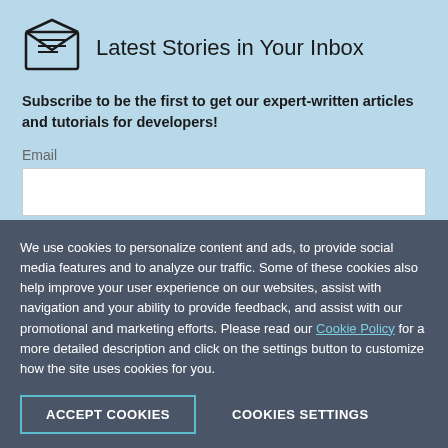[Figure (illustration): Envelope icon with letter inside, outline style]
Latest Stories in Your Inbox
Subscribe to be the first to get our expert-written articles and tutorials for developers!
Email
Country/Territory
We use cookies to personalize content and ads, to provide social media features and to analyze our traffic. Some of these cookies also help improve your user experience on our websites, assist with navigation and your ability to provide feedback, and assist with our promotional and marketing efforts. Please read our Cookie Policy for a more detailed description and click on the settings button to customize how the site uses cookies for you.
ACCEPT COOKIES
COOKIES SETTINGS